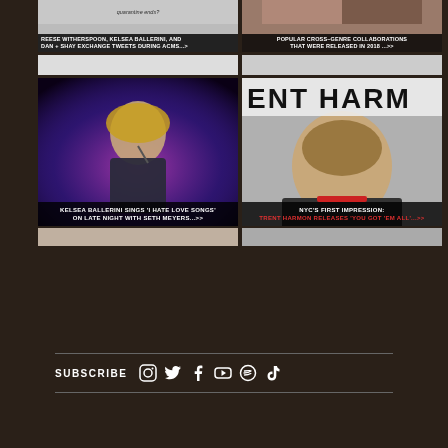[Figure (screenshot): Card showing social media tweet exchange, quarantine question text visible at top]
REESE WITHERSPOON, KELSEA BALLERINI, AND DAN + SHAY EXCHANGE TWEETS DURING ACMS...>
[Figure (screenshot): Card showing popular cross-genre collaborations released in 2018, with music artist images]
POPULAR CROSS-GENRE COLLABORATIONS THAT WERE RELEASED IN 2018 ...>>
[Figure (photo): Kelsea Ballerini performing on stage singing into microphone with blue/purple stage lighting]
KELSEA BALLERINI SINGS 'I HATE LOVE SONGS' ON LATE NIGHT WITH SETH MEYERS...>>
[Figure (photo): ENT HARM headline text overlay with photo of Trent Harmon, young man with short hair]
NYC'S FIRST IMPRESSION: TRENT HARMON RELEASES 'YOU GOT 'EM ALL'...>>
SUBSCRIBE
[Figure (infographic): Social media icons: Instagram, Twitter, Facebook, YouTube, Spotify, TikTok]